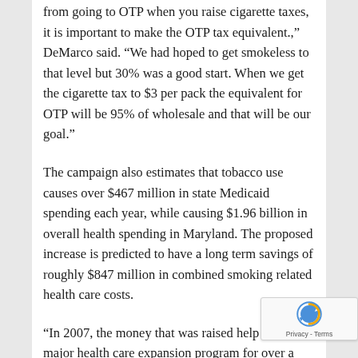from going to OTP when you raise cigarette taxes, it is important to make the OTP tax equivalent.," DeMarco said. "We had hoped to get smokeless to that level but 30% was a good start. When we get the cigarette tax to $3 per pack the equivalent for OTP will be 95% of wholesale and that will be our goal."
The campaign also estimates that tobacco use causes over $467 million in state Medicaid spending each year, while causing $1.96 billion in overall health spending in Maryland. The proposed increase is predicted to have a long term savings of roughly $847 million in combined smoking related health care costs.
“In 2007, the money that was raised help to fund a major health care expansion program for over a 100,